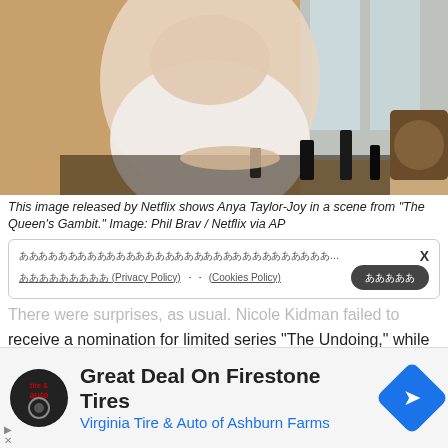[Figure (photo): Netflix promotional image showing Anya Taylor-Joy in a scene from The Queen's Gambit, sitting at a chess board with hands clasped, wearing white sleeveless top]
This image released by Netflix shows Anya Taylor-Joy in a scene from "The Queen's Gambit." Image: Phil Brav / Netflix via AP
There were surprises, as usual. Nicole Kidman failed to receive a nomination for limited series "The Undoing," while co-star Hugh Grant was recognized. But the critically acclaimed miniseries "I May Destroy You" and its star and or, Michaela Coel, grabbed nine Emmy nods after being
[Figure (screenshot): Advertisement: Great Deal On Firestone Tires - Virginia Tire & Auto of Ashburn Farms]